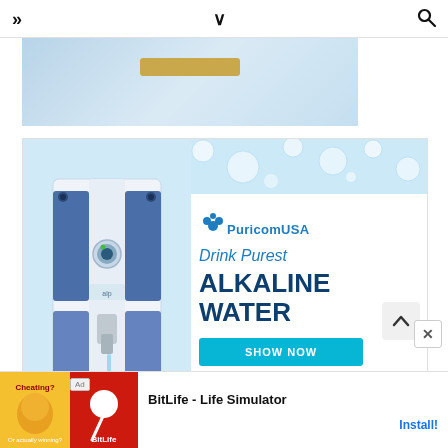» ∨ 🔍
[Figure (screenshot): Partial top banner advertisement with light blue background and a gold/tan button, partially cropped]
[Figure (screenshot): PuricomUSA advertisement showing a blue water alkaline dispenser machine on the left and text on the right: PuricomUSA logo with bubbles, 'Drink Purest', 'ALKALINE WATER', and a cyan 'SHOW NOW' button]
[Figure (screenshot): Bottom mobile ad bar: 'Ad' label, left image with orange/yellow background showing a muscular arm cartoon, right image with red background showing BitLife logo (sperm cell icon), text 'BitLife - Life Simulator', and 'Install!' button in blue]